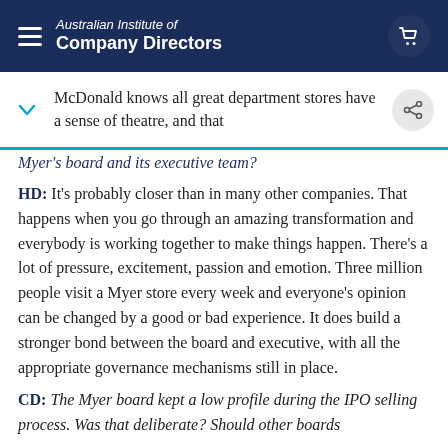Australian Institute of Company Directors
McDonald knows all great department stores have a sense of theatre, and that
Myer's board and its executive team?
HD: It's probably closer than in many other companies. That happens when you go through an amazing transformation and everybody is working together to make things happen. There's a lot of pressure, excitement, passion and emotion. Three million people visit a Myer store every week and everyone's opinion can be changed by a good or bad experience. It does build a stronger bond between the board and executive, with all the appropriate governance mechanisms still in place.
CD: The Myer board kept a low profile during the IPO selling process. Was that deliberate? Should other boards